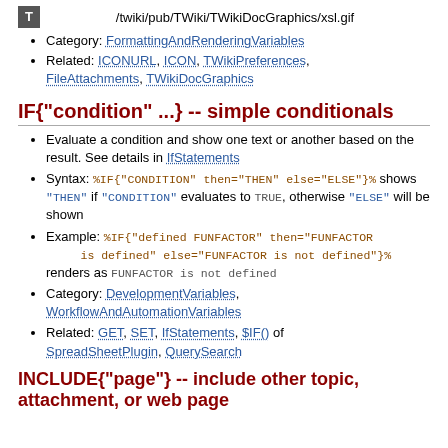/twiki/pub/TWiki/TWikiDocGraphics/xsl.gif
Category: FormattingAndRenderingVariables
Related: ICONURL, ICON, TWikiPreferences, FileAttachments, TWikiDocGraphics
IF{"condition" ...} -- simple conditionals
Evaluate a condition and show one text or another based on the result. See details in IfStatements
Syntax: %IF{"CONDITION" then="THEN" else="ELSE"}% shows "THEN" if "CONDITION" evaluates to TRUE, otherwise "ELSE" will be shown
Example: %IF{"defined FUNFACTOR" then="FUNFACTOR is defined" else="FUNFACTOR is not defined"}% renders as FUNFACTOR is not defined
Category: DevelopmentVariables, WorkflowAndAutomationVariables
Related: GET, SET, IfStatements, $IF() of SpreadSheetPlugin, QuerySearch
INCLUDE{"page"} -- include other topic, attachment, or web page